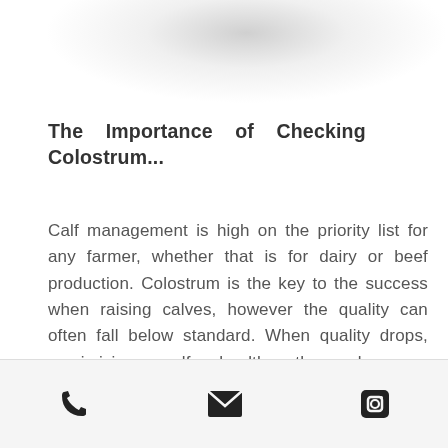The Importance of Checking Colostrum...
Calf management is high on the priority list for any farmer, whether that is for dairy or beef production. Colostrum is the key to the success when raising calves, however the quality can often fall below standard. When quality drops, maximising calf health then becomes problematic.
[phone icon] [email icon] [facebook icon]